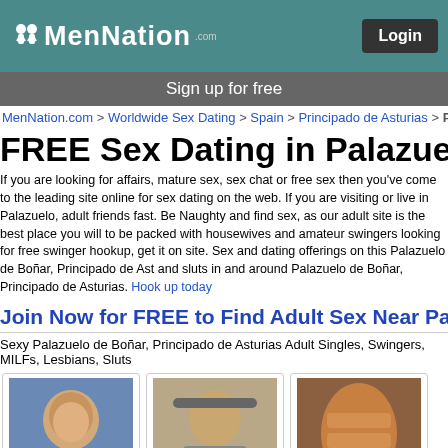MenNation.com header with Login button
Sign up for free
MenNation.com > Worldwide Sex Dating > Spain > Principado de Asturias > Pa
FREE Sex Dating in Palazuelo d
If you are looking for affairs, mature sex, sex chat or free sex then you've come to the leading site online for sex dating on the web. If you are visiting or live in Palazuelo, adult friends fast. Be Naughty and find sex, as our adult site is the best place you will to be packed with housewives and amateur swingers looking for free swinger hookup, get it on site. Sex and dating offerings on this Palazuelo de Boñar, Principado de Ast and sluts in and around Palazuelo de Boñar, Principado de Asturias. Hook up today
Join Now for FREE to Find Adult Sex Near Pa
Sexy Palazuelo de Boñar, Principado de Asturias Adult Singles, Swingers, MILFs, Lesbians, Sluts
[Figure (photo): Profile photo of badnews084 - young man smiling]
[Figure (photo): Profile photo of silverheart222 - man posing]
[Figure (photo): Profile photo of aidank22 - torso shot]